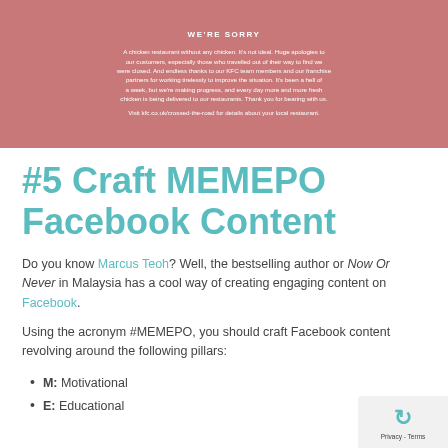[Figure (photo): Pink/rose-colored KFC apology advertisement banner with 'WE'RE SORRY' heading and apologetic text about chicken shortage, with KFC branding]
#5 Craft MEMEPO Facebook Content
Do you know Marcus Teoh? Well, the bestselling author or Now Or Never in Malaysia has a cool way of creating engaging content on Facebook.
Using the acronym #MEMEPO, you should craft Facebook content revolving around the following pillars:
M: Motivational
E: Educational